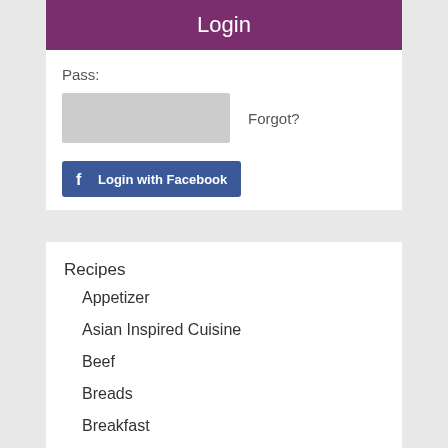Login
Pass:
[Figure (screenshot): Password input field (grey box) with 'Forgot?' link to the right]
[Figure (screenshot): Login with Facebook button (blue with Facebook logo)]
Recipes
Appetizer
Asian Inspired Cuisine
Beef
Breads
Breakfast
Cheese